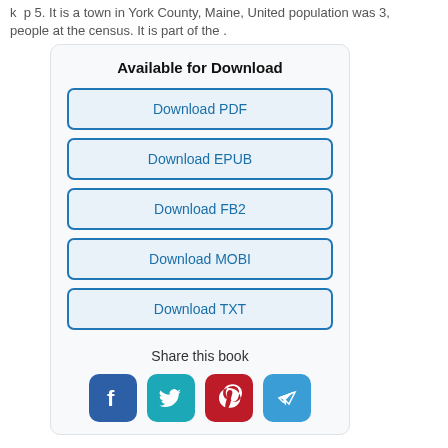k p 5. It is a town in York County, Maine, United population was 3, people at the census. It is part of the .
Available for Download
Download PDF
Download EPUB
Download FB2
Download MOBI
Download TXT
Share this book
[Figure (illustration): Four social media share icons: Facebook (blue), Twitter (teal), Pinterest (red), Telegram (light blue)]